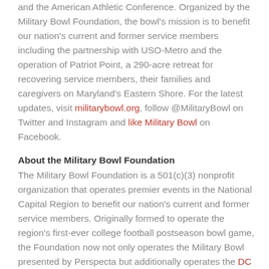and the American Athletic Conference. Organized by the Military Bowl Foundation, the bowl's mission is to benefit our nation's current and former service members including the partnership with USO-Metro and the operation of Patriot Point, a 290-acre retreat for recovering service members, their families and caregivers on Maryland's Eastern Shore. For the latest updates, visit militarybowl.org, follow @MilitaryBowl on Twitter and Instagram and like Military Bowl on Facebook.
About the Military Bowl Foundation
The Military Bowl Foundation is a 501(c)(3) nonprofit organization that operates premier events in the National Capital Region to benefit our nation's current and former service members. Originally formed to operate the region's first-ever college football postseason bowl game, the Foundation now not only operates the Military Bowl presented by Perspecta but additionally operates the DC Touchdown Club and Patriot Point, a 290-acre retreat for recovering service members, their families and caregivers on Maryland's Eastern Shore. The Foundation